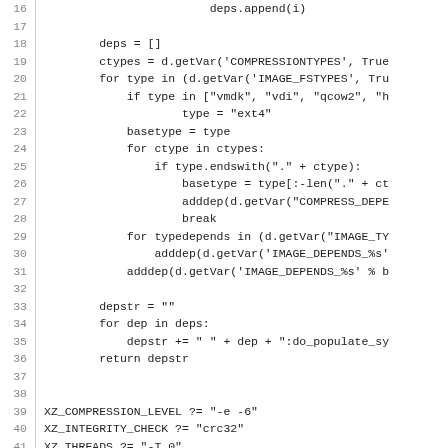Code listing lines 16-45 showing Python/BitBake code and variable assignments